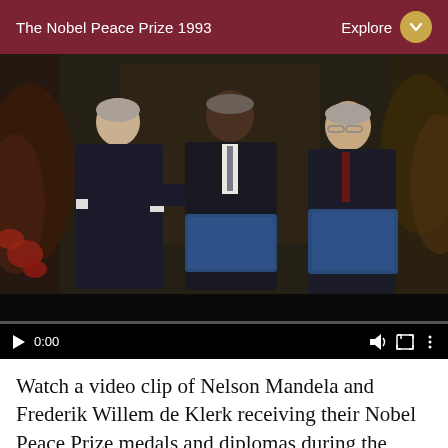The Nobel Peace Prize 1993
[Figure (photo): Video clip screenshot showing three men in dark suits at a ceremony. The man in the center (Nelson Mandela) and the man on the right (Frederik Willem de Klerk) are holding blue folders/diplomas. A presenter on the left appears to be handing or receiving items. Floral arrangements are visible in the background. Video player controls are visible at the bottom showing 0:00 timestamp.]
Watch a video clip of Nelson Mandela and Frederik Willem de Klerk receiving their Nobel Peace Prize medals and diplomas during the Nobel Peace Prize